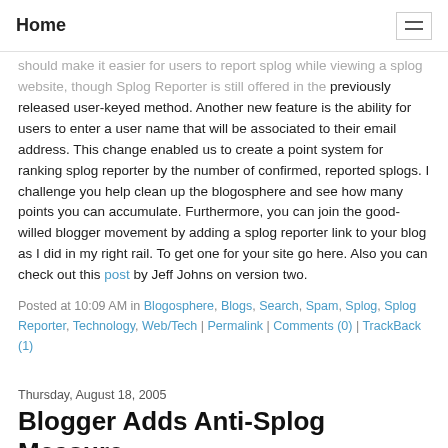Home
should make it easier for users to report splog while viewing a splog website, though Splog Reporter is still offered in the previously released user-keyed method. Another new feature is the ability for users to enter a user name that will be associated to their email address. This change enabled us to create a point system for ranking splog reporter by the number of confirmed, reported splogs. I challenge you help clean up the blogosphere and see how many points you can accumulate. Furthermore, you can join the good-willed blogger movement by adding a splog reporter link to your blog as I did in my right rail. To get one for your site go here. Also you can check out this post by Jeff Johns on version two.
Posted at 10:09 AM in Blogosphere, Blogs, Search, Spam, Splog, Splog Reporter, Technology, Web/Tech | Permalink | Comments (0) | TrackBack (1)
Thursday, August 18, 2005
Blogger Adds Anti-Splog Measure
Blogger just released a new feature that